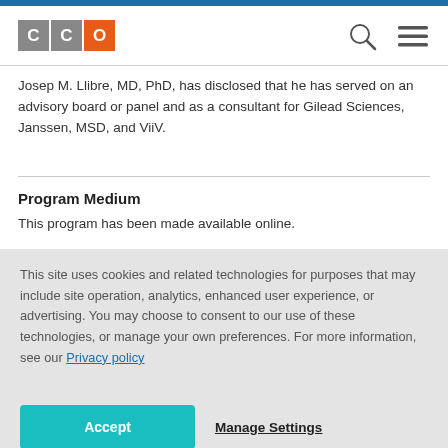[Figure (logo): CCO logo with two gray squares labeled C and one orange square labeled O]
Josep M. Llibre, MD, PhD, has disclosed that he has served on an advisory board or panel and as a consultant for Gilead Sciences, Janssen, MSD, and ViiV.
Program Medium
This program has been made available online.
This site uses cookies and related technologies for purposes that may include site operation, analytics, enhanced user experience, or advertising. You may choose to consent to our use of these technologies, or manage your own preferences. For more information, see our Privacy policy
Accept
Manage Settings